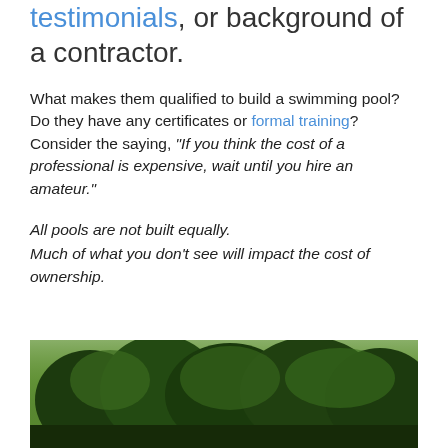testimonials, or background of a contractor.
What makes them qualified to build a swimming pool? Do they have any certificates or formal training? Consider the saying, "If you think the cost of a professional is expensive, wait until you hire an amateur."
All pools are not built equally.
Much of what you don't see will impact the cost of ownership.
[Figure (photo): Outdoor photo showing trees and landscape with green foliage against a bright background]